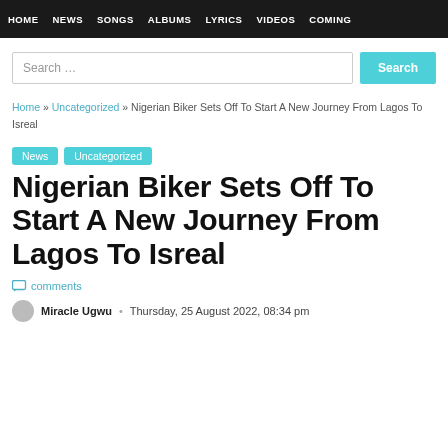HOME  NEWS  SONGS  ALBUMS  LYRICS  VIDEOS  COMING
Search …
Home » Uncategorized » Nigerian Biker Sets Off To Start A New Journey From Lagos To Isreal
News
Uncategorized
Nigerian Biker Sets Off To Start A New Journey From Lagos To Isreal
comments
Miracle Ugwu  •  Thursday, 25 August 2022, 08:34 pm